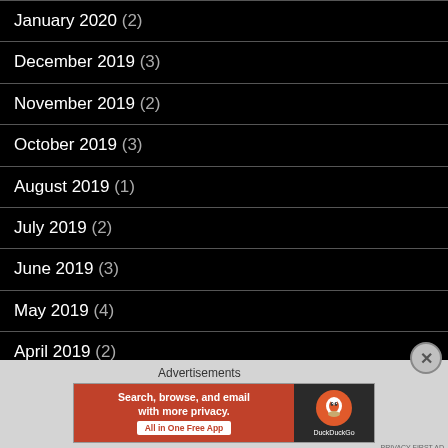January 2020 (2)
December 2019 (3)
November 2019 (2)
October 2019 (3)
August 2019 (1)
July 2019 (2)
June 2019 (3)
May 2019 (4)
April 2019 (2)
March 2019 (2)
[Figure (screenshot): DuckDuckGo advertisement banner: 'Search, browse, and email with more privacy. All in One Free App' with DuckDuckGo logo on dark background]
Advertisements